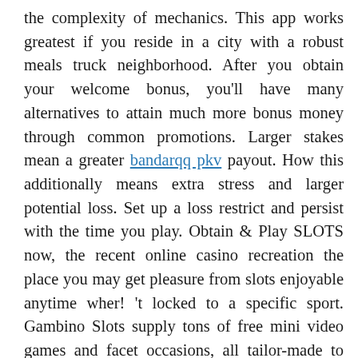the complexity of mechanics. This app works greatest if you reside in a city with a robust meals truck neighborhood. After you obtain your welcome bonus, you'll have many alternatives to attain much more bonus money through common promotions. Larger stakes mean a greater bandarqq pkv payout. How this additionally means extra stress and larger potential loss. Set up a loss restrict and persist with the time you play. Obtain & Play SLOTS now, the recent online casino recreation the place you may get pleasure from slots enjoyable anytime wher! 't locked to a specific sport. Gambino Slots supply tons of free mini video games and facet occasions, all tailor-made to spice up your online casino enjoyable!